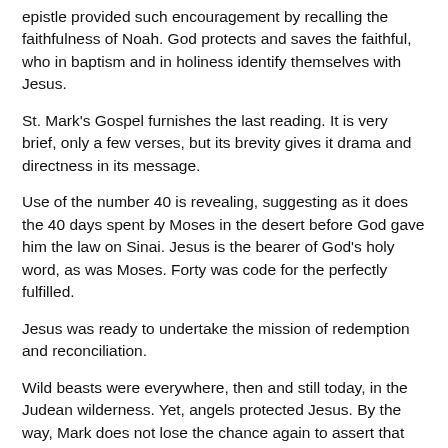epistle provided such encouragement by recalling the faithfulness of Noah. God protects and saves the faithful, who in baptism and in holiness identify themselves with Jesus.
St. Mark's Gospel furnishes the last reading. It is very brief, only a few verses, but its brevity gives it drama and directness in its message.
Use of the number 40 is revealing, suggesting as it does the 40 days spent by Moses in the desert before God gave him the law on Sinai. Jesus is the bearer of God's holy word, as was Moses. Forty was code for the perfectly fulfilled.
Jesus was ready to undertake the mission of redemption and reconciliation.
Wild beasts were everywhere, then and still today, in the Judean wilderness. Yet, angels protected Jesus. By the way, Mark does not lose the chance again to assert that Jesus is the Son of God.
At last, indicated by John's arrest and removal from the role of prophet, the culmination of salvation awaits in Jesus. Jesus steps forward, proclaiming that God's majesty will be seen. He calls upon the people to repent. "The time of fulfillment is at hand" (Mk 1:15). God will be vindicated. Jesus has come to set everything in balance. The sinful will be laid low. The good will endure.